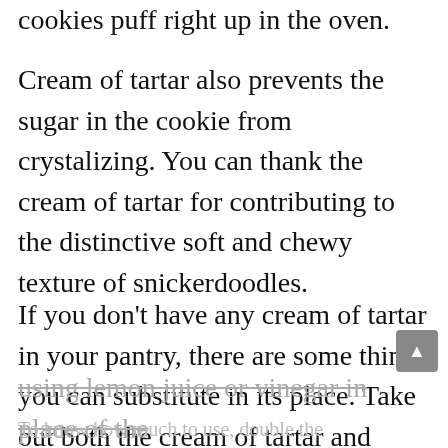cookies puff right up in the oven.
Cream of tartar also prevents the sugar in the cookie from crystalizing. You can thank the cream of tartar for contributing to the distinctive soft and chewy texture of snickerdoodles.
If you don't have any cream of tartar in your pantry, there are some things you can substitute in its place. Take out both the cream of tartar and baking soda, and use baking powder in its place. Another option is
using lemon juice or vinegar in place of the
[Figure (screenshot): Advertisement banner for UK HealthCare 'Peace of Mind For Mom & Baby' with an Open button]
To know how much to use, double the